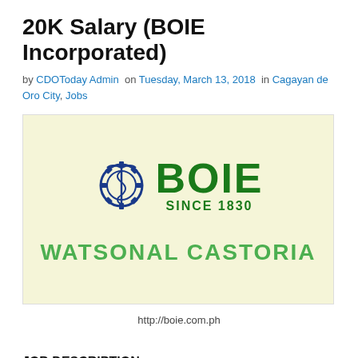20K Salary (BOIE Incorporated)
by CDOToday Admin on Tuesday, March 13, 2018 in Cagayan de Oro City, Jobs
[Figure (logo): BOIE Incorporated logo with gear/caduceus symbol, text BOIE SINCE 1830 in green and blue, and WATSONAL CASTORIA in green below, on a light yellow-green background]
http://boie.com.ph
JOB DESCRIPTION